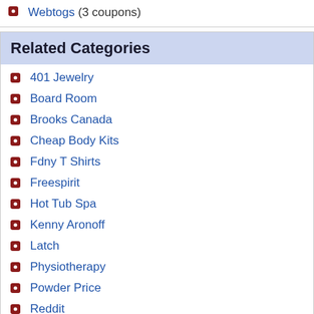Webtogs (3 coupons)
Related Categories
401 Jewelry
Board Room
Brooks Canada
Cheap Body Kits
Fdny T Shirts
Freespirit
Hot Tub Spa
Kenny Aronoff
Latch
Physiotherapy
Powder Price
Reddit